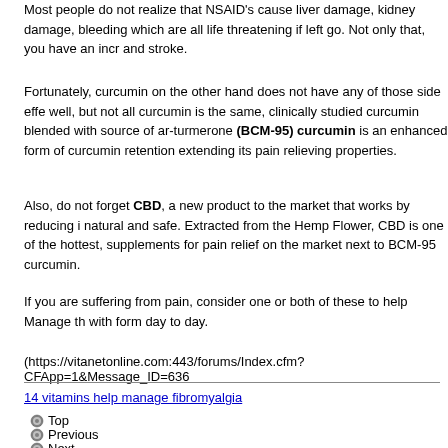Most people do not realize that NSAID's cause liver damage, kidney damage, bleeding which are all life threatening if left go. Not only that, you have an incr and stroke.
Fortunately, curcumin on the other hand does not have any of those side effe well, but not all curcumin is the same, clinically studied curcumin blended with source of ar-turmerone (BCM-95) curcumin is an enhanced form of curcumin retention extending its pain relieving properties.
Also, do not forget CBD, a new product to the market that works by reducing i natural and safe. Extracted from the Hemp Flower, CBD is one of the hottest, supplements for pain relief on the market next to BCM-95 curcumin.
If you are suffering from pain, consider one or both of these to help Manage th with form day to day.
(https://vitanetonline.com:443/forums/Index.cfm?CFApp=1&Message_ID=636
14 vitamins help manage fibromyalgia
Top
Previous
Next
Date: May 18, 2019 10:44 AM